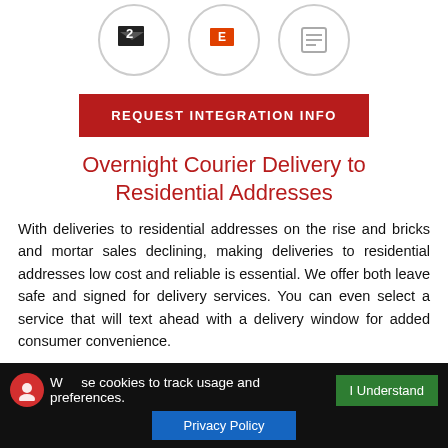[Figure (illustration): Three circular icon badges at top: left has a dark arrow/symbol icon, center has a red/orange icon, right has a document/lines icon]
[Figure (other): Red button with white bold text: REQUEST INTEGRATION INFO]
Overnight Courier Delivery to Residential Addresses
With deliveries to residential addresses on the rise and bricks and mortar sales declining, making deliveries to residential addresses low cost and reliable is essential. We offer both leave safe and signed for delivery services. You can even select a service that will text ahead with a delivery window for added consumer convenience.
We use cookies to track usage and preferences.  I Understand  Privacy Policy